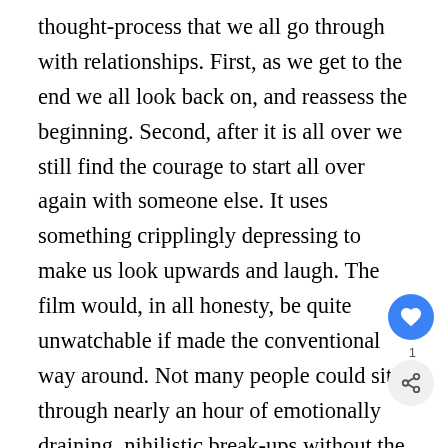thought-process that we all go through with relationships. First, as we get to the end we all look back on, and reassess the beginning. Second, after it is all over we still find the courage to start all over again with someone else. It uses something cripplingly depressing to make us look upwards and laugh. The film would, in all honesty, be quite unwatchable if made the conventional way around. Not many people could sit through nearly an hour of emotionally draining, nihilistic break-ups without the promise of something better coming afterwards. All in all, it was heartening to meet the creator behind this piece of independent cinema; high-budget gloss would almost certainly have ruined the moment. The charm and feel of the